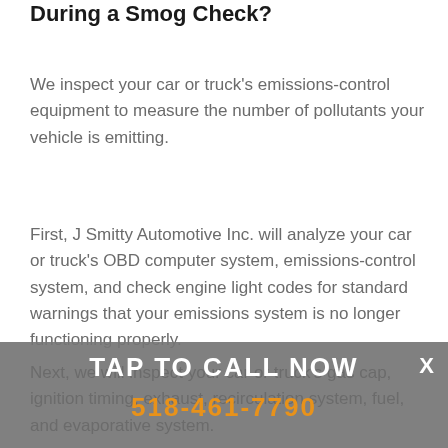During a Smog Check?
We inspect your car or truck's emissions-control equipment to measure the number of pollutants your vehicle is emitting.
First, J Smitty Automotive Inc. will analyze your car or truck's OBD computer system, emissions-control system, and check engine light codes for standard warnings that your emissions system is no longer functioning properly.
Next, we will inspect your car or truck's gas cap, ignition timing, exhaust, recirculation system, fuel, and evaporative system.
TAP TO CALL NOW
518-461-7790
X